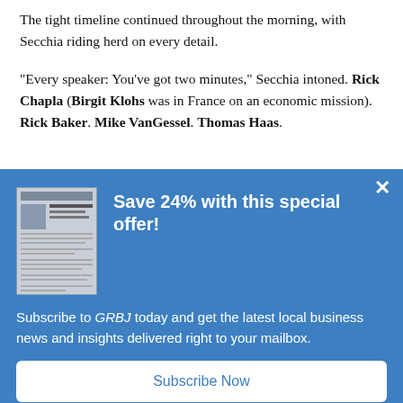The tight timeline continued throughout the morning, with Secchia riding herd on every detail.
“Every speaker: You’ve got two minutes,” Secchia intoned. Rick Chapla (Birgit Klohs was in France on an economic mission). Rick Baker. Mike VanGessel. Thomas Haas.
[Figure (screenshot): A modal popup overlay with a blue background advertising a 24% subscription discount for GRBJ (Grand Rapids Business Journal). Contains a newspaper thumbnail image on the left, bold white text 'Save 24% with this special offer!', subscription promotional text, and a white 'Subscribe Now' button. An X close button appears in the top right corner.]